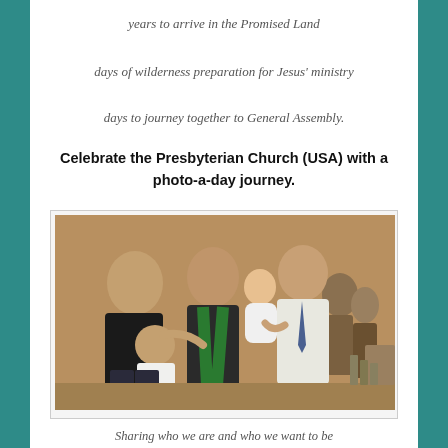years to arrive in the Promised Land
days of wilderness preparation for Jesus' ministry
days to journey together to General Assembly.
Celebrate the Presbyterian Church (USA) with a photo-a-day journey.
[Figure (photo): A group of people at what appears to be a church baptism or dedication ceremony. A woman in black dress, a minister in green stole holding a baby in white, a man in white jacket, and other figures in the background.]
Sharing who we are and who we want to be